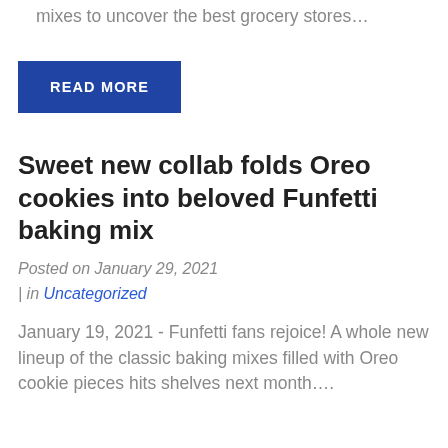mixes to uncover the best grocery stores…
READ MORE
Sweet new collab folds Oreo cookies into beloved Funfetti baking mix
Posted on January 29, 2021 | in Uncategorized
January 19, 2021 - Funfetti fans rejoice! A whole new lineup of the classic baking mixes filled with Oreo cookie pieces hits shelves next month….